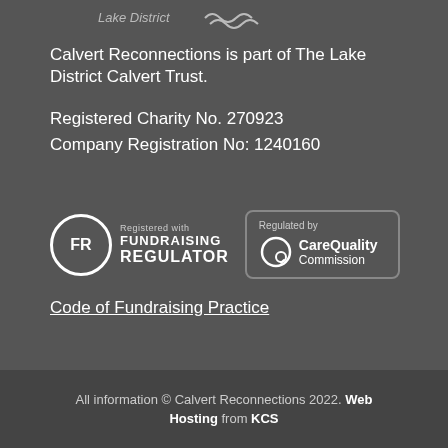[Figure (logo): Lake District logo with italic text and wavy lines]
Calvert Reconnections is part of The Lake District Calvert Trust.
Registered Charity No. 270923
Company Registration No: 1240160
[Figure (logo): Fundraising Regulator badge - FR circle logo with text Registered with FUNDRAISING REGULATOR]
[Figure (logo): Care Quality Commission badge - Regulated by CareQuality Commission with circular Q logo]
Code of Fundraising Practice
All information © Calvert Reconnections 2022. Web Hosting from KCS